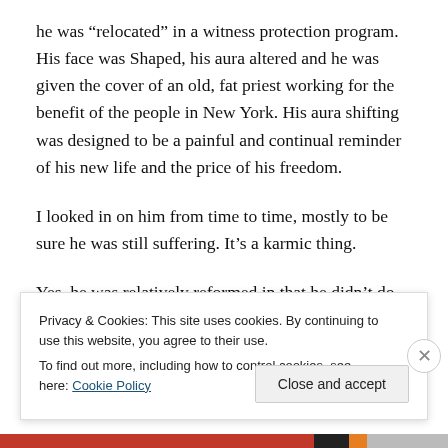he was “relocated” in a witness protection program. His face was Shaped, his aura altered and he was given the cover of an old, fat priest working for the benefit of the people in New York. His aura shifting was designed to be a painful and continual reminder of his new life and the price of his freedom.
I looked in on him from time to time, mostly to be sure he was still suffering. It’s a karmic thing.
Yes, he was relatively reformed in that he didn’t do human trafficking, but leopards rarely changed their spots. He
Privacy & Cookies: This site uses cookies. By continuing to use this website, you agree to their use.
To find out more, including how to control cookies, see here: Cookie Policy